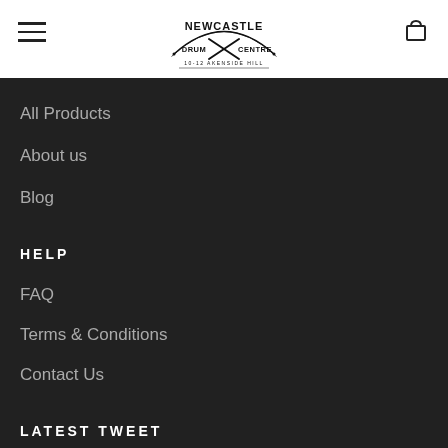[Figure (logo): Newcastle Drum Centre logo with crossed drumsticks, arched text reading NEWCASTLE DRUM CENTRE, and address 10-12 Akenside Hill]
All Products
About us
Blog
HELP
FAQ
Terms & Conditions
Contact Us
LATEST TWEET
@NewcastleDrum